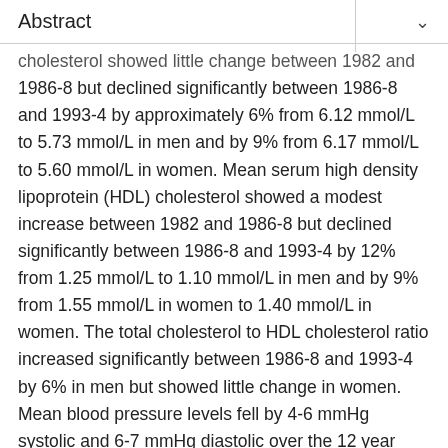Abstract
cholesterol showed little change between 1982 and 1986-8 but declined significantly between 1986-8 and 1993-4 by approximately 6% from 6.12 mmol/L to 5.73 mmol/L in men and by 9% from 6.17 mmol/L to 5.60 mmol/L in women. Mean serum high density lipoprotein (HDL) cholesterol showed a modest increase between 1982 and 1986-8 but declined significantly between 1986-8 and 1993-4 by 12% from 1.25 mmol/L to 1.10 mmol/L in men and by 9% from 1.55 mmol/L in women to 1.40 mmol/L in women. The total cholesterol to HDL cholesterol ratio increased significantly between 1986-8 and 1993-4 by 6% in men but showed little change in women. Mean blood pressure levels fell by 4-6 mmHg systolic and 6-7 mmHg diastolic over the 12 year period in men and women. Mean body mass index increased significantly from 25.6 to 26.4 in men and from 24.5 to 25.1 in women during this period.